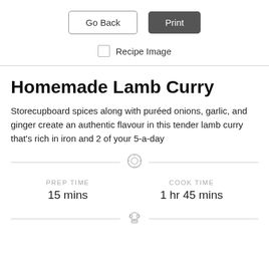[Figure (screenshot): UI buttons: 'Go Back' (outlined) and 'Print' (dark filled)]
[Figure (screenshot): Checkbox labeled 'Recipe Image']
Homemade Lamb Curry
Storecupboard spices along with puréed onions, garlic, and ginger create an authentic flavour in this tender lamb curry that's rich in iron and 2 of your 5-a-day
PREP TIME
15 mins
COOK TIME
1 hr 45 mins